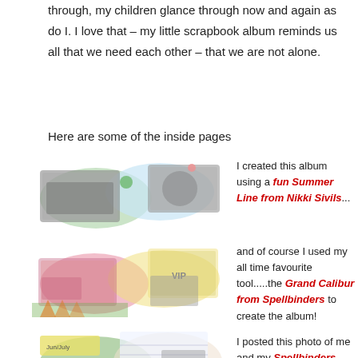through, my children glance through now and again as do I. I love that – my little scrapbook album reminds us all that we need each other – that we are not alone.
Here are some of the inside pages
[Figure (photo): Three stacked scrapbook page spreads showing group photos and decorative elements]
I created this album using a fun Summer Line from Nikki Sivils...
and of course I used my all time favourite tool.....the Grand Calibur from Spellbinders to create the album!
[Figure (photo): Fourth scrapbook spread at bottom with group photos and pink/green decorative elements]
I posted this photo of me and my Spellbinders